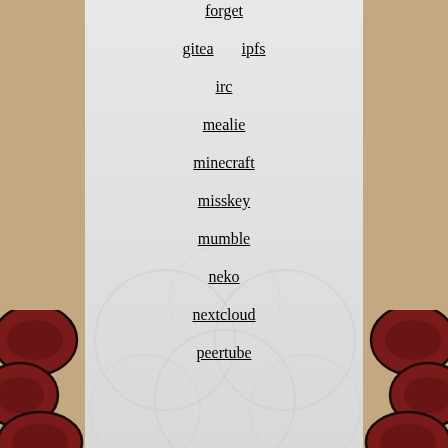forget
gitea  ipfs
irc
mealie
minecraft
misskey
mumble
neko
nextcloud
peertube